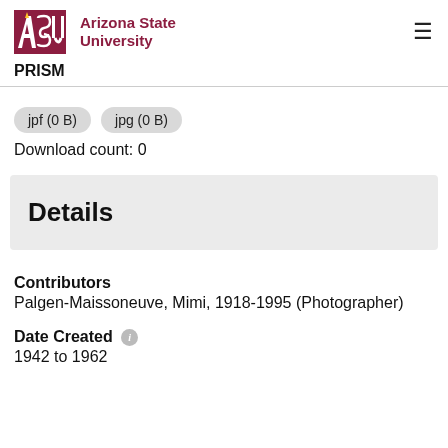ASU Arizona State University
PRISM
jpf (0 B)   jpg (0 B)
Download count: 0
Details
Contributors
Palgen-Maissoneuve, Mimi, 1918-1995 (Photographer)
Date Created
1942 to 1962